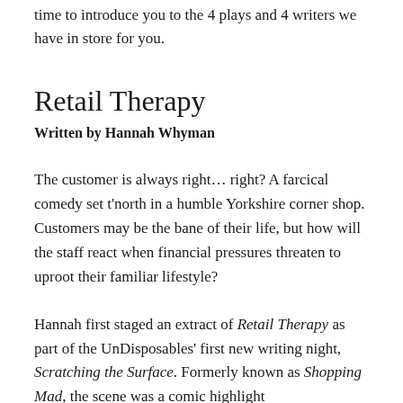time to introduce you to the 4 plays and 4 writers we have in store for you.
Retail Therapy
Written by Hannah Whyman
The customer is always right… right? A farcical comedy set t'north in a humble Yorkshire corner shop. Customers may be the bane of their life, but how will the staff react when financial pressures threaten to uproot their familiar lifestyle?
Hannah first staged an extract of Retail Therapy as part of the UnDisposables' first new writing night, Scratching the Surface. Formerly known as Shopping Mad, the scene was a comic highlight